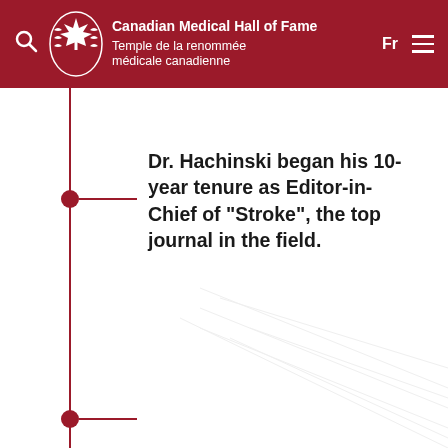Canadian Medical Hall of Fame Temple de la renommée médicale canadienne Fr
Dr. Hachinski began his 10-year tenure as Editor-in-Chief of "Stroke", the top journal in the field.